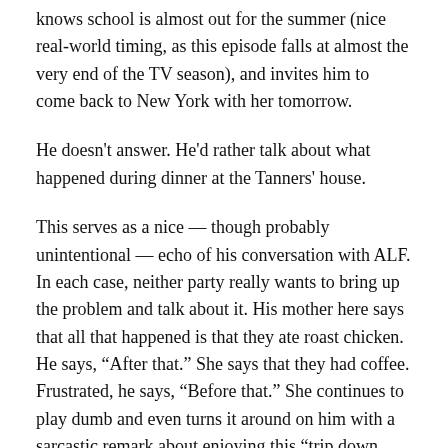knows school is almost out for the summer (nice real-world timing, as this episode falls at almost the very end of the TV season), and invites him to come back to New York with her tomorrow.
He doesn't answer. He'd rather talk about what happened during dinner at the Tanners' house.
This serves as a nice — though probably unintentional — echo of his conversation with ALF. In each case, neither party really wants to bring up the problem and talk about it. His mother here says that all that happened is that they ate roast chicken. He says, “After that.” She says that they had coffee. Frustrated, he says, “Before that.” She continues to play dumb and even turns it around on him with a sarcastic remark about enjoying this “trip down Memory Lane.”